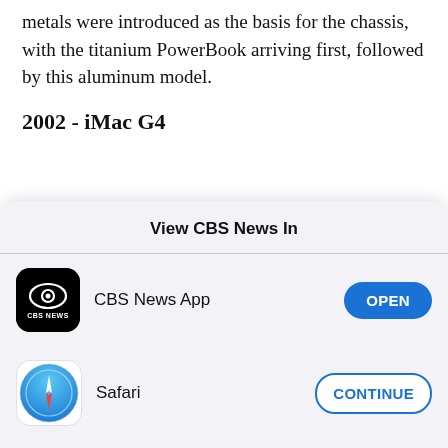metals were introduced as the basis for the chassis, with the titanium PowerBook arriving first, followed by this aluminum model.
2002 - iMac G4
View CBS News In
CBS News App — OPEN
Safari — CONTINUE